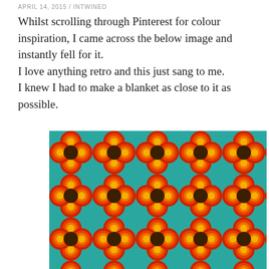APRIL 14, 2015 / INTWINED
Whilst scrolling through Pinterest for colour inspiration, I came across the below image and instantly fell for it.
I love anything retro and this just sang to me.
I knew I had to make a blanket as close to it as possible.
[Figure (illustration): Retro floral pattern with red, orange, yellow concentric flower shapes on a teal/turquoise background with dark brown circular centers, repeating tile pattern.]